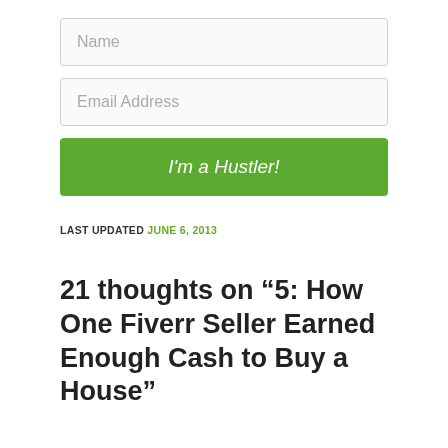[Figure (screenshot): Name input field (text form field with placeholder 'Name')]
[Figure (screenshot): Email Address input field (text form field with placeholder 'Email Address')]
[Figure (screenshot): Green button labeled "I'm a Hustler!"]
LAST UPDATED JUNE 6, 2013
21 thoughts on “5: How One Fiverr Seller Earned Enough Cash to Buy a House”